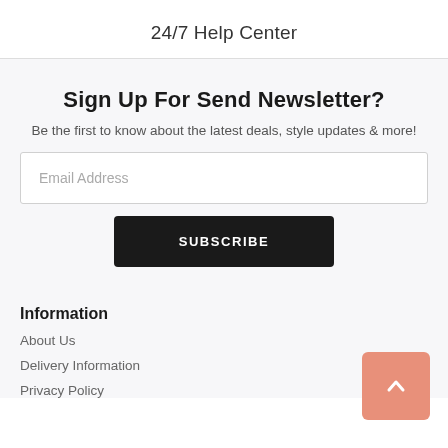24/7 Help Center
Sign Up For Send Newsletter?
Be the first to know about the latest deals, style updates & more!
Email Address
SUBSCRIBE
Information
About Us
Delivery Information
Privacy Policy